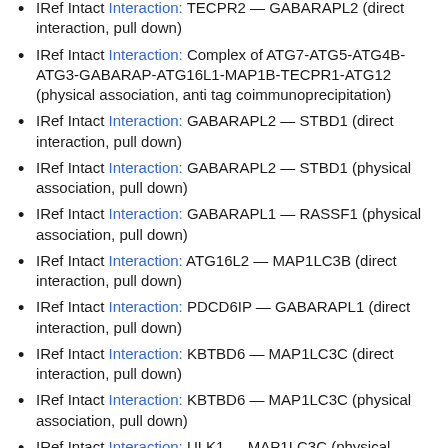IRef Intact Interaction: TECPR2 — GABARAPL2 (direct interaction, pull down)
IRef Intact Interaction: Complex of ATG7-ATG5-ATG4B-ATG3-GABARAP-ATG16L1-MAP1B-TECPR1-ATG12 (physical association, anti tag coimmunoprecipitation)
IRef Intact Interaction: GABARAPL2 — STBD1 (direct interaction, pull down)
IRef Intact Interaction: GABARAPL2 — STBD1 (physical association, pull down)
IRef Intact Interaction: GABARAPL1 — RASSF1 (physical association, pull down)
IRef Intact Interaction: ATG16L2 — MAP1LC3B (direct interaction, pull down)
IRef Intact Interaction: PDCD6IP — GABARAPL1 (direct interaction, pull down)
IRef Intact Interaction: KBTBD6 — MAP1LC3C (direct interaction, pull down)
IRef Intact Interaction: KBTBD6 — MAP1LC3C (physical association, pull down)
IRef Intact Interaction: ULK1 — MAP1LC3C (physical association, pull down)
IRef Intact Interaction: ULK1 — MAP1LC3C (direct interaction,